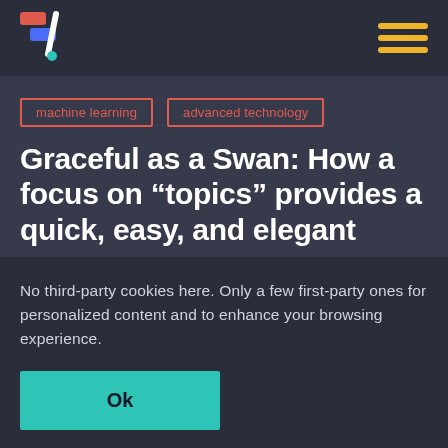[Figure (logo): Colorful logo with geometric shapes (red, blue, yellow, green) and a diagonal slash mark]
[Figure (other): Hamburger menu icon with three horizontal yellow bars]
machine learning
advanced technology
Graceful as a Swan: How a focus on “topics” provides a quick, easy, and elegant
No third-party cookies here. Only a few first-party ones for personalized content and to enhance your browsing experience.
Ok